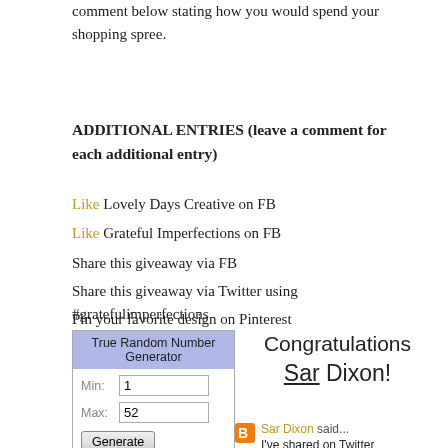comment below stating how you would spend your shopping spree.
ADDITIONAL ENTRIES (leave a comment for each additional entry)
Like Lovely Days Creative on FB
Like Grateful Imperfections on FB
Share this giveaway via FB
Share this giveaway via Twitter using #gratefulimperfections
Pin your favorite design on Pinterest
xoxo,
Krista
[Figure (screenshot): True Random Number Generator widget showing Min: 1, Max: 52, with Generate button and Result field]
[Figure (other): Handwritten-style text reading 'Congratulations Sar Dixon!']
Sar Dixon said... I've shared on Twitter